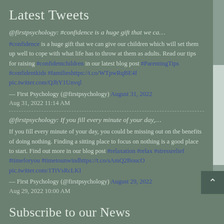Latest Tweets
@firstpsychology: #confidence is a huge gift that we ca…
#confidence is a huge gift that we can give our children which will set them up well to cope with what life has to throw at them as adults. Read our tips for raising #confidentchildren in our latest blog post #ParentingTips #confidentkids #familieshttps://t.co/WTpwRqBE4f pic.twitter.com/QJhY1Unvql
— First Psychology (@firstpsychology) August 31, 2022
Aug 31, 2022 11:14 AM
@firstpsychology: If you fill every minute of your day,…
If you fill every minute of your day, you could be missing out on the benefits of doing nothing. Finding a sitting place to focus on nothing is a good place to start. Find out more in our blog post #relaxation #relax #stressrelief #timeforyou #timetounwindhttps://t.co/sAmQ2BoucO pic.twitter.com/1TtVsRcLKI
— First Psychology (@firstpsychology) August 29, 2022
Aug 29, 2022 10:00 AM
Subscribe to our News